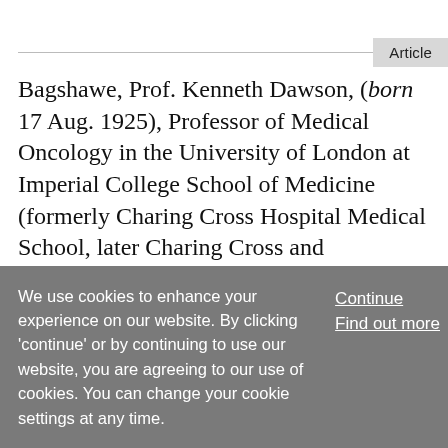Article
Bagshawe, Prof. Kenneth Dawson, (born 17 Aug. 1925), Professor of Medical Oncology in the University of London at Imperial College School of Medicine (formerly Charing Cross Hospital Medical School, later Charing Cross and Westminster Medical School), 1974–90, now Emeritus; Hon. Consultant Physician, Charing Cross Hospital, since
We use cookies to enhance your experience on our website. By clicking 'continue' or by continuing to use our website, you are agreeing to our use of cookies. You can change your cookie settings at any time.
Continue
Find out more